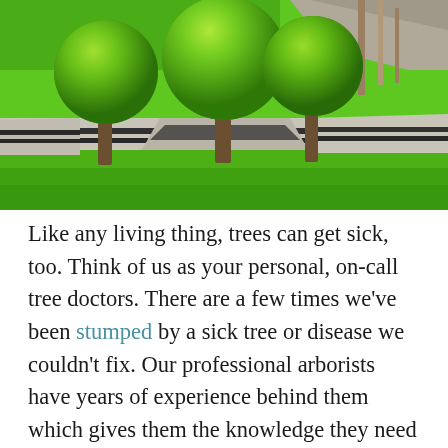[Figure (photo): Outdoor park scene with three round-clipped topiary trees in full green foliage sitting atop a concrete retaining wall with dark stripes. Lush green lawn in foreground and background, with thin tree trunks visible in the upper right.]
Like any living thing, trees can get sick, too. Think of us as your personal, on-call tree doctors. There are a few times we've been stumped by a sick tree or disease we couldn't fix. Our professional arborists have years of experience behind them which gives them the knowledge they need to be able to identify almost all pests and diseases that can attack trees and shrubs. Our arborists will find solutions that are unique to the